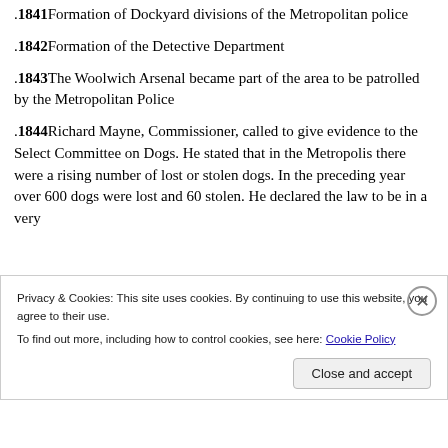.1841 Formation of Dockyard divisions of the Metropolitan police
.1842 Formation of the Detective Department
.1843 The Woolwich Arsenal became part of the area to be patrolled by the Metropolitan Police
.1844 Richard Mayne, Commissioner, called to give evidence to the Select Committee on Dogs. He stated that in the Metropolis there were a rising number of lost or stolen dogs. In the preceding year over 600 dogs were lost and 60 stolen. He declared the law to be in a very
Privacy & Cookies: This site uses cookies. By continuing to use this website, you agree to their use. To find out more, including how to control cookies, see here: Cookie Policy